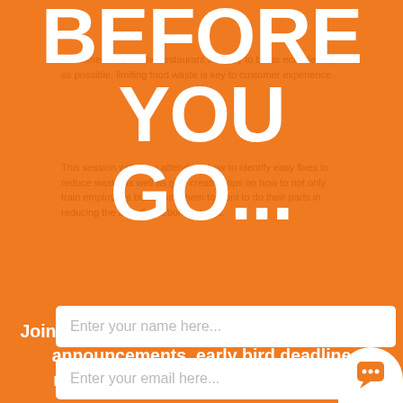BEFORE YOU GO...
Customers expect the restaurant industry to be as eco-friendly as possible, limiting food waste is key to customer experience.
This session will show attendees how to identify easy fixes to reduce waste as well as give creative tips on how to not only train employees but inspire them to want to do their parts in reducing the brand's carbon footprint.
Panelists
Adam Chose | COO | Alder-Tex Manufacturing
Landon Eckles | Co-Founder & CEO | Clean Juice
Join our mailing list to receive new speaker announcements, early bird deadline reminders, special offers and more.
Enter your name here...
Enter your email here...